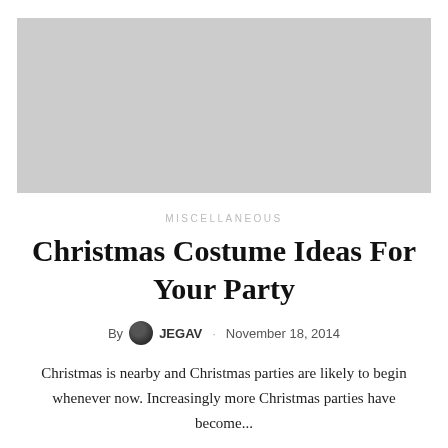[Figure (photo): Gray placeholder image for article thumbnail]
MISCELLANEOUS
Christmas Costume Ideas For Your Party
By JEGAV · November 18, 2014
Christmas is nearby and Christmas parties are likely to begin whenever now. Increasingly more Christmas parties have become...
READ MORE >